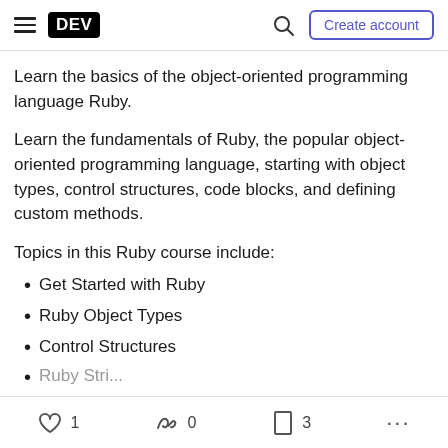DEV | Create account
Learn the basics of the object-oriented programming language Ruby.
Learn the fundamentals of Ruby, the popular object-oriented programming language, starting with object types, control structures, code blocks, and defining custom methods.
Topics in this Ruby course include:
Get Started with Ruby
Ruby Object Types
Control Structures
1  0  3  ...